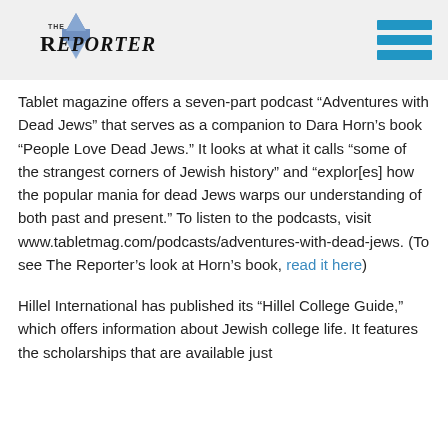The Reporter
Tablet magazine offers a seven-part podcast “Adventures with Dead Jews” that serves as a companion to Dara Horn’s book “People Love Dead Jews.” It looks at what it calls “some of the strangest corners of Jewish history” and “explor[es] how the popular mania for dead Jews warps our understanding of both past and present.” To listen to the podcasts, visit www.tabletmag.com/podcasts/adventures-with-dead-jews. (To see The Reporter’s look at Horn’s book, read it here)
Hillel International has published its “Hillel College Guide,” which offers information about Jewish college life. It features the scholarships that are available just